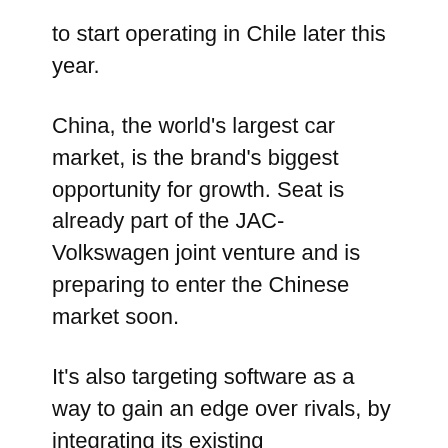to start operating in Chile later this year.
China, the world's largest car market, is the brand's biggest opportunity for growth. Seat is already part of the JAC-Volkswagen joint venture and is preparing to enter the Chinese market soon.
It's also targeting software as a way to gain an edge over rivals, by integrating its existing Metropolis:Lab hub in Barcelona with other Seat companies including Xmoba. It will focus on mobility schemes, including ride sharing and on-demand buses.
The need for electrification
The pressure to reduce emissions and switch to electrification will prove tough, not just for Seat but